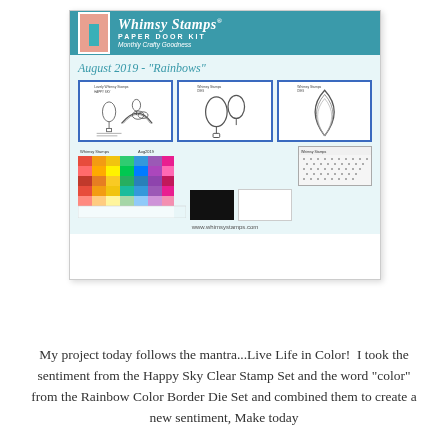[Figure (illustration): Whimsy Stamps Paper Door Kit product card for August 2019 - Rainbows theme. Shows the brand logo and name at top on teal background, then title 'August 2019 - Rainbows', three stamp set images in blue-bordered frames (Happy Sky stamps, die cuts of balloon shapes, rainbow border die), a texture stamp panel, colorful rainbow paper pack, black card and white card, and website URL www.whimsystamps.com at bottom.]
My project today follows the mantra...Live Life in Color!  I took the sentiment from the Happy Sky Clear Stamp Set and the word "color" from the Rainbow Color Border Die Set and combined them to create a new sentiment, Make today